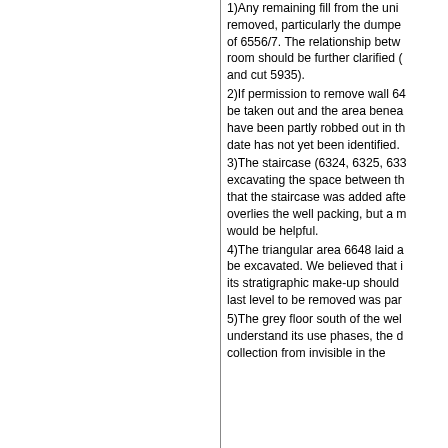1)Any remaining fill from the unit removed, particularly the dumped material of 6556/7. The relationship between room should be further clarified (and cut 5935).
2)If permission to remove wall 64 be taken out and the area beneath have been partly robbed out in the date has not yet been identified.
3)The staircase (6324, 6325, 633 excavating the space between the that the staircase was added after overlies the well packing, but a more would be helpful.
4)The triangular area 6648 laid a be excavated. We believed that its stratigraphic make-up should last level to be removed was par
5)The grey floor south of the well understand its use phases, the d collection from invisible in the